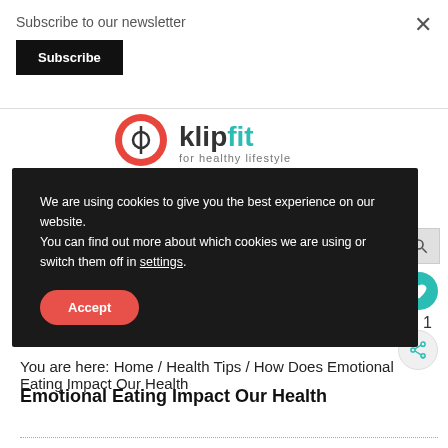Subscribe to our newsletter
Subscribe
×
[Figure (logo): KlipFit logo with red circle fork icon and teal/black text 'klipfit for healthy lifestyle']
We are using cookies to give you the best experience on our website. You can find out more about which cookies we are using or switch them off in settings.
Accept
You are here: Home / Health Tips / How Does Emotional Eating Impact Our Health